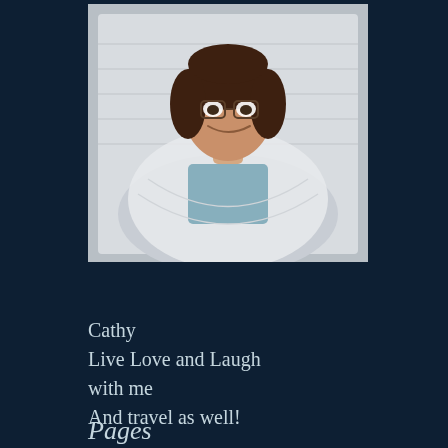[Figure (photo): Portrait photo of a woman with glasses and brown hair, smiling, wearing a white knit shawl and blue top, sitting in a white wicker chair]
Cathy
Live Love and Laugh with me
And travel as well!
Pages
About
Books read – 2013/2014
Books read – 2015/2016